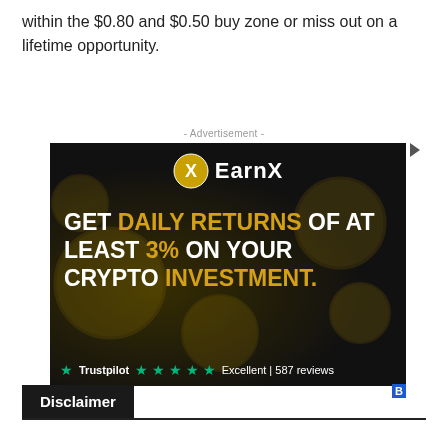within the $0.80 and $0.50 buy zone or miss out on a lifetime opportunity.
[Figure (other): EarnX advertisement banner. Dark background with gold coins imagery. Logo: EarnX with a stylized X icon. Text reads: 'GET DAILY RETURNS OF AT LEAST 3% ON YOUR CRYPTO INVESTMENT.' Trustpilot rating bar at bottom: '★ Trustpilot ★★★★★ Excellent | 587 reviews']
Disclaimer